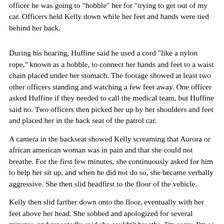officer he was going to "hobble" her for "trying to get out of my car. Officers held Kelly down while her feet and hands were tied behind her back.
During his hearing, Huffine said he used a cord "like a nylon rope," known as a hobble, to connect her hands and feet to a waist chain placed under her stomach. The footage showed at least two other officers standing and watching a few feet away. One officer asked Huffine if they needed to call the medical team, but Huffine said no. Two officers then picked her up by her shoulders and feet and placed her in the back seat of the patrol car.
A camera in the backseat showed Kelly screaming that Aurora or african american woman was in pain and that she could not breathe. For the first few minutes, she continuously asked for him to help her sit up, and when he did not do so, she became verbally aggressive. She then slid headfirst to the floor of the vehicle.
Kelly then slid farther down onto the floor, eventually with her feet above her head. She sobbed and apologized for several minutes, and repeatedly said she couldn't breathe. I'm sorry. I'm so sorry God It hurts so bad Please don't let me die back here. When she arrived at the detention center, a female officer opened the door and immediately asked, "Honey, why are you head down like that?